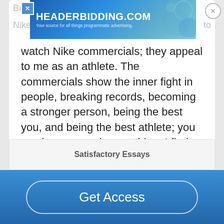[Figure (screenshot): HeaderBidding.com advertisement banner with blue gradient background and decorative circles]
watch Nike commercials; they appeal to me as an athlete. The commercials show the inner fight in people, breaking records, becoming a stronger person, being the best you, and being the best athlete; you can be overcoming anything. I find their advertisement to be very inspiring and motivational....
Read More
Satisfactory Essays
Get Access